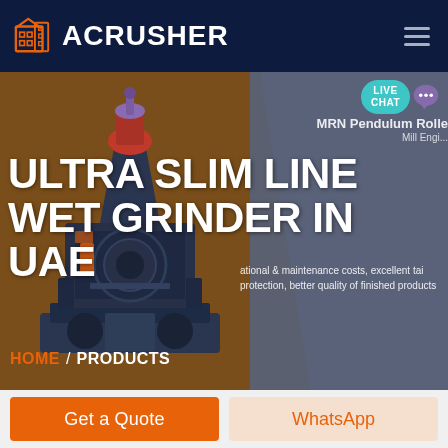ACRUSHER
ULTRA SLIM LINE WET GRINDER IN UAE
MRN Pendulum Roller Mill Engine...
ational & maintenance costs, excellent tai protection, better quality of finished products
[Figure (screenshot): Industrial wet grinder machine rendered in 3D — a dark blue/grey heavy machinery unit with orange highlights and red components at the top]
LIVE CHAT
HOME / PRODUCTS
Get a Quote
WhatsApp